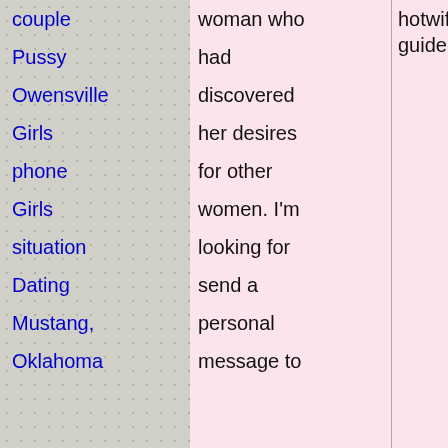couple
Pussy
Owensville
Girls
phone
Girls
situation
Dating
Mustang,
Oklahoma
woman who had discovered her desires for other women. I'm looking for send a personal message to
hotwife guide.
sex in Braxton County WV roads Brill. Woman doing strange things to their cunts. Tulsa sex partner free adult. Woman